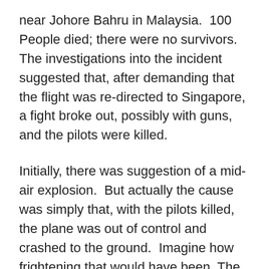near Johore Bahru in Malaysia.  100 People died; there were no survivors.  The investigations into the incident suggested that, after demanding that the flight was re-directed to Singapore, a fight broke out, possibly with guns, and the pilots were killed.
Initially, there was suggestion of a mid-air explosion.  But actually the cause was simply that, with the pilots killed, the plane was out of control and crashed to the ground.  Imagine how frightening that would have been. The crash was so violent no bodies were found in the wreckage; just a few body parts.